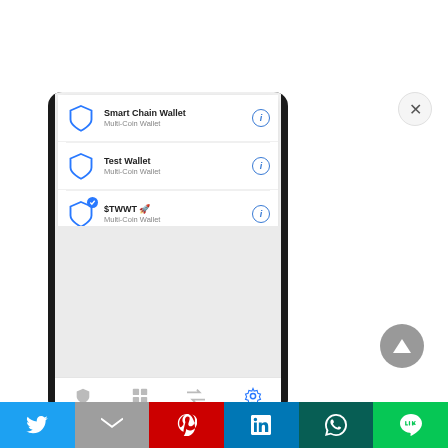[Figure (screenshot): Mobile phone screenshot showing a wallet selection list in a crypto app. Three wallet items are listed: 'Smart Chain Wallet (Multi-Coin Wallet)', 'Test Wallet (Multi-Coin Wallet)', and '$TWTWT 🚀 (Multi-Coin Wallet)'. Each item has a shield icon on the left and an info (i) button on the right. Below the list is a gray empty area and a bottom navigation bar with shield, grid, exchange, and settings icons. An X close button appears top-right of the phone frame.]
[Figure (infographic): Social sharing bar at the bottom with icons for Twitter (blue), Gmail (gray), Pinterest (red), LinkedIn (blue), WhatsApp (dark green), and LINE (green).]